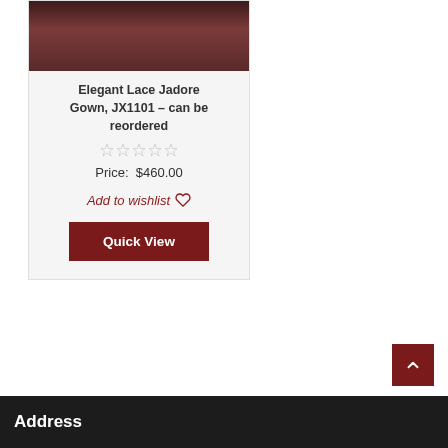[Figure (photo): Product photo of a person wearing a dark maroon/burgundy lace gown, cropped to show upper body]
Elegant Lace Jadore Gown, JX1101 – can be reordered
Price:  $460.00
Add to wishlist ♡
Quick View
Address